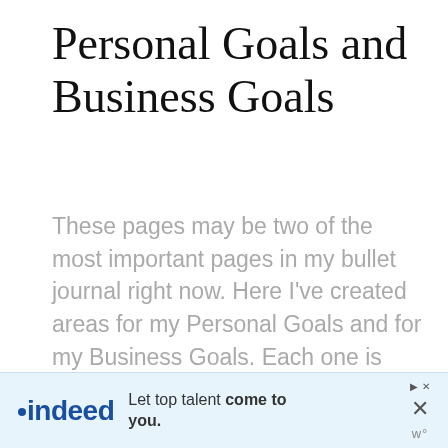Personal Goals and Business Goals
These pages may be two of the most important pages in my bullet journal right now.  Here I've created areas for my Personal Goals and for my Business Goals.  Each one is divided into 3 sections – to have, to be and to do.
[Figure (other): Indeed advertisement banner: 'Let top talent come to you.' with Indeed logo and close/skip controls]